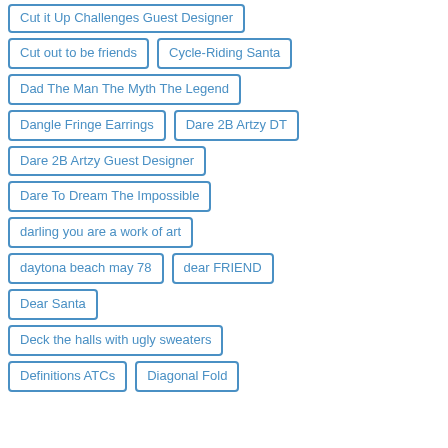Cut it Up Challenges Guest Designer
Cut out to be friends
Cycle-Riding Santa
Dad The Man The Myth The Legend
Dangle Fringe Earrings
Dare 2B Artzy DT
Dare 2B Artzy Guest Designer
Dare To Dream The Impossible
darling you are a work of art
daytona beach may 78
dear FRIEND
Dear Santa
Deck the halls with ugly sweaters
Definitions ATCs
Diagonal Fold